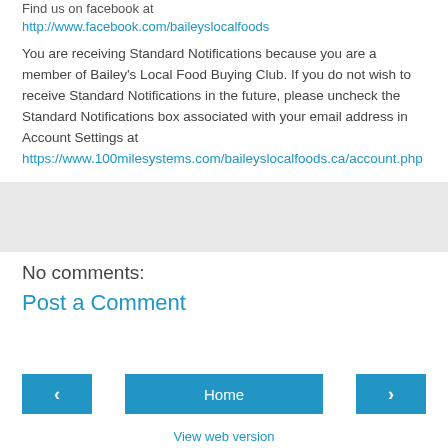Find us on facebook at http://www.facebook.com/baileyslocalfoods
You are receiving Standard Notifications because you are a member of Bailey's Local Food Buying Club. If you do not wish to receive Standard Notifications in the future, please uncheck the Standard Notifications box associated with your email address in Account Settings at https://www.100milesystems.com/baileyslocalfoods.ca/account.php
No comments:
Post a Comment
View web version